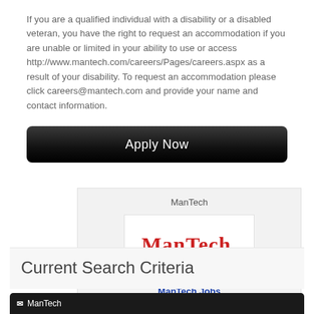If you are a qualified individual with a disability or a disabled veteran, you have the right to request an accommodation if you are unable or limited in your ability to use or access http://www.mantech.com/careers/Pages/careers.aspx as a result of your disability. To request an accommodation please click careers@mantech.com and provide your name and contact information.
[Figure (other): Apply Now button — dark gradient rounded rectangle with white text]
[Figure (other): ManTech company card with logo and ManTech Jobs link on grey background]
Current Search Criteria
[Figure (other): Dark rounded tag bar showing ManTech search filter]